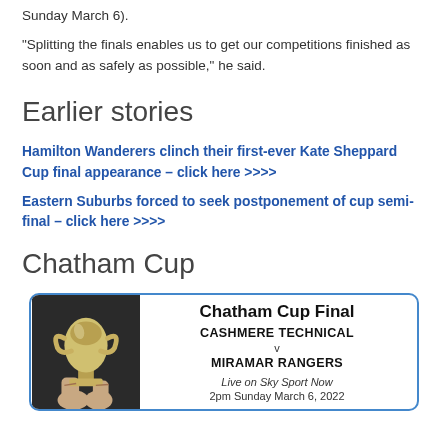Sunday March 6).
“Splitting the finals enables us to get our competitions finished as soon and as safely as possible,” he said.
Earlier stories
Hamilton Wanderers clinch their first-ever Kate Sheppard Cup final appearance – click here >>>>
Eastern Suburbs forced to seek postponement of cup semi-final – click here >>>>
Chatham Cup
[Figure (infographic): Chatham Cup Final promotional box with trophy image. Text reads: Chatham Cup Final, CASHMERE TECHNICAL v MIRAMAR RANGERS, Live on Sky Sport Now, 2pm Sunday March 6, 2022]